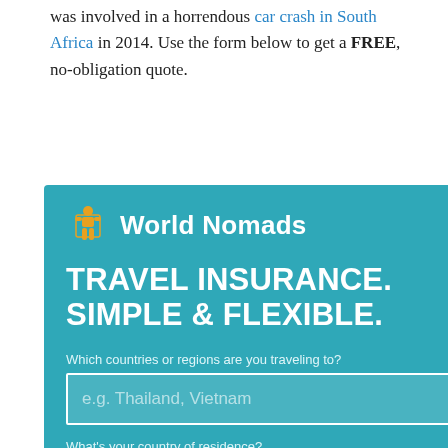was involved in a horrendous car crash in South Africa in 2014. Use the form below to get a FREE, no-obligation quote.
[Figure (screenshot): World Nomads travel insurance widget with logo, headline 'TRAVEL INSURANCE. SIMPLE & FLEXIBLE.', form fields for destination countries, country of residence, start date (28th Aug 22) and end date (3rd Sep 22)]